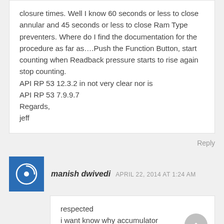closure times. Well I know 60 seconds or less to close annular and 45 seconds or less to close Ram Type preventers. Where do I find the documentation for the procedure as far as….Push the Function Button, start counting when Readback pressure starts to rise again stop counting.
API RP 53 12.3.2 in not very clear nor is
API RP 53 7.9.9.7
Regards,
jeff
Reply
manish dwivedi  APRIL 22, 2014 AT 1:24 AM
respected
i want know why accumulator pressure sat at 3000 psi(slandered) it may be 3500, 2500 4000